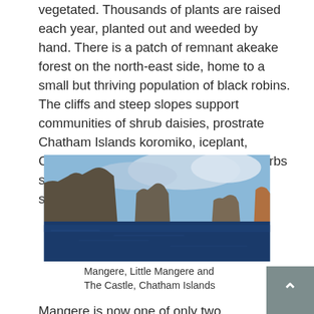vegetated. Thousands of plants are raised each year, planted out and weeded by hand. There is a patch of remnant akeake forest on the north-east side, home to a small but thriving population of black robins. The cliffs and steep slopes support communities of shrub daisies, prostrate Chatham Islands koromiko, iceplant, Chatham Islands geranium and megaherbs such as giant sowthistle and soft speargrass.
[Figure (photo): Coastal photograph showing rocky sea stacks and cliffs rising from dark blue ocean water under a partly cloudy sky. The formations include Mangere, Little Mangere and The Castle in the Chatham Islands.]
Mangere, Little Mangere and The Castle, Chatham Islands
Mangere is now one of only two sites in the world where black robin are found. Chatham Islands snipe and parakeets are common. Forbes' parakeet is far rarer than the red-crowned parakeet, being found only on